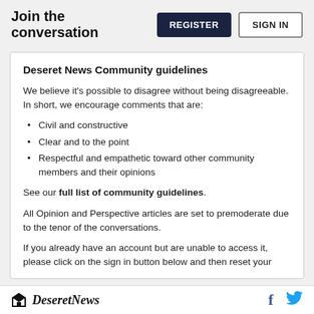Join the conversation
Deseret News Community guidelines
We believe it's possible to disagree without being disagreeable. In short, we encourage comments that are:
Civil and constructive
Clear and to the point
Respectful and empathetic toward other community members and their opinions
See our full list of community guidelines.
All Opinion and Perspective articles are set to premoderate due to the tenor of the conversations.
If you already have an account but are unable to access it, please click on the sign in button below and then reset your
Deseret News